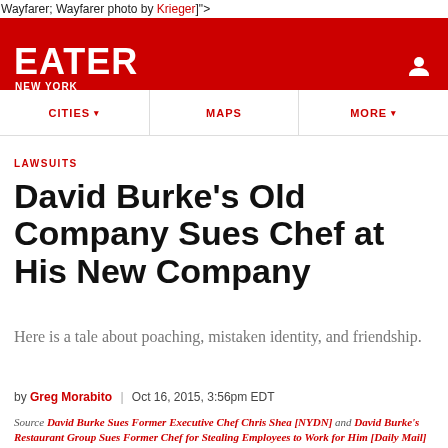Wayfarer; Wayfarer photo by Krieger]">
[Figure (logo): Eater New York logo on red banner header with user icon]
CITIES ▾   MAPS   MORE ▾
LAWSUITS
David Burke's Old Company Sues Chef at His New Company
Here is a tale about poaching, mistaken identity, and friendship.
by Greg Morabito | Oct 16, 2015, 3:56pm EDT
Source David Burke Sues Former Executive Chef Chris Shea [NYDN] and David Burke's Restaurant Group Sues Former Chef for Stealing Employees to Work for Him [Daily Mail]